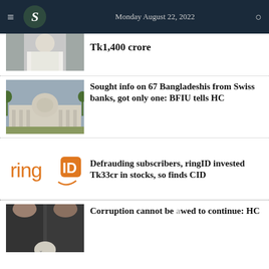Monday August 22, 2022
[Figure (photo): Partial photo of a person in white clothing, partially cropped]
Tk1,400 crore
[Figure (photo): Bangladesh Supreme Court building with dome and palm trees]
Sought info on 67 Bangladeshis from Swiss banks, got only one: BFIU tells HC
[Figure (logo): ringID logo in orange]
Defrauding subscribers, ringID invested Tk33cr in stocks, so finds CID
[Figure (photo): Partial photo of two people in dark clothing, partially cropped at bottom]
Corruption cannot be allowed to continue: HC